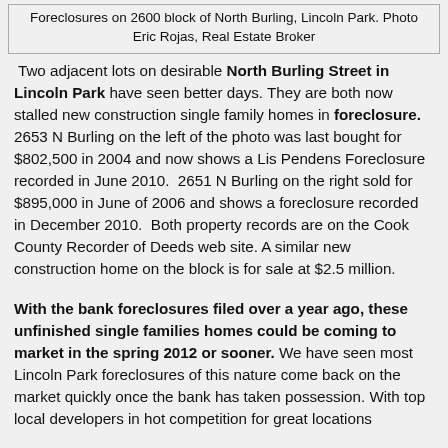Foreclosures on 2600 block of North Burling, Lincoln Park. Photo Eric Rojas, Real Estate Broker
Two adjacent lots on desirable North Burling Street in Lincoln Park have seen better days. They are both now stalled new construction single family homes in foreclosure. 2653 N Burling on the left of the photo was last bought for $802,500 in 2004 and now shows a Lis Pendens Foreclosure recorded in June 2010. 2651 N Burling on the right sold for $895,000 in June of 2006 and shows a foreclosure recorded in December 2010. Both property records are on the Cook County Recorder of Deeds web site. A similar new construction home on the block is for sale at $2.5 million.
With the bank foreclosures filed over a year ago, these unfinished single families homes could be coming to market in the spring 2012 or sooner. We have seen most Lincoln Park foreclosures of this nature come back on the market quickly once the bank has taken possession. With top local developers in hot competition for great locations